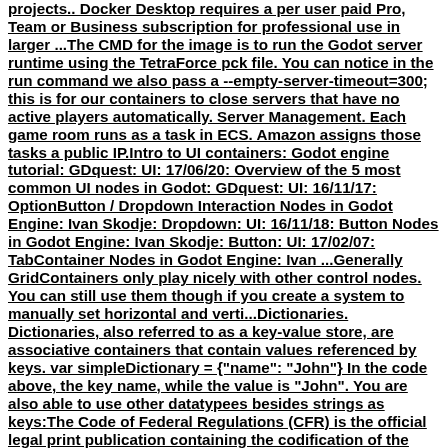projects.. Docker Desktop requires a per user paid Pro, Team or Business subscription for professional use in larger ...The CMD for the image is to run the Godot server runtime using the TetraForce pck file. You can notice in the run command we also pass a --empty-server-timeout=300; this is for our containers to close servers that have no active players automatically. Server Management. Each game room runs as a task in ECS. Amazon assigns those tasks a public IP.Intro to UI containers: Godot engine tutorial: GDquest: UI: 17/06/20: Overview of the 5 most common UI nodes in Godot: GDquest: UI: 16/11/17: OptionButton / Dropdown Interaction Nodes in Godot Engine: Ivan Skodje: Dropdown: UI: 16/11/18: Button Nodes in Godot Engine: Ivan Skodje: Button: UI: 17/02/07: TabContainer Nodes in Godot Engine: Ivan ...Generally GridContainers only play nicely with other control nodes. You can still use them though if you create a system to manually set horizontal and verti...Dictionaries. Dictionaries, also referred to as a key-value store, are associative containers that contain values referenced by keys. var simpleDictionary = {"name": "John"} In the code above, the key name, while the value is "John". You are also able to use other datatypees besides strings as keys:The Code of Federal Regulations (CFR) is the official legal print publication containing the codification of the general and permanent rules published in the Federal Register by the departments and agencies of the Federal Government.